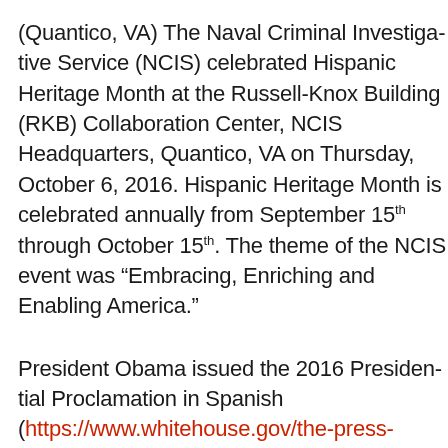(Quantico, VA) The Naval Criminal Investigative Service (NCIS) celebrated Hispanic Heritage Month at the Russell-Knox Building (RKB) Collaboration Center, NCIS Headquarters, Quantico, VA on Thursday, October 6, 2016. Hispanic Heritage Month is celebrated annually from September 15th through October 15th. The theme of the NCIS event was “Embracing, Enriching and Enabling America.”
President Obama issued the 2016 Presidential Proclamation in Spanish (https://www.whitehouse.gov/the-press-